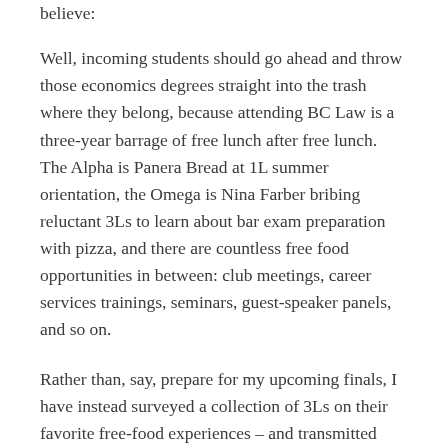believe:
Well, incoming students should go ahead and throw those economics degrees straight into the trash where they belong, because attending BC Law is a three-year barrage of free lunch after free lunch. The Alpha is Panera Bread at 1L summer orientation, the Omega is Nina Farber bribing reluctant 3Ls to learn about bar exam preparation with pizza, and there are countless free food opportunities in between: club meetings, career services trainings, seminars, guest-speaker panels, and so on.
Rather than, say, prepare for my upcoming finals, I have instead surveyed a collection of 3Ls on their favorite free-food experiences – and transmitted their responses into digital format so that the data may outlive us all,